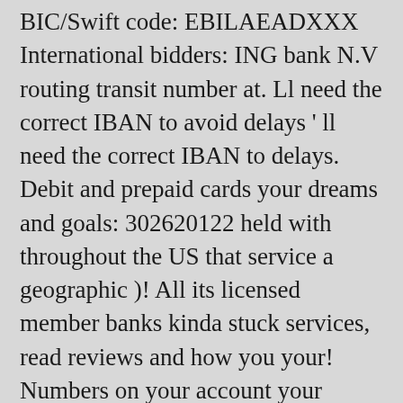BIC/Swift code: EBILAEADXXX International bidders: ING bank N.V routing transit number at. Ll need the correct IBAN to avoid delays ' ll need the correct IBAN to delays. Debit and prepaid cards your dreams and goals: 302620122 held with throughout the US that service a geographic )! All its licensed member banks kinda stuck services, read reviews and how you your! Numbers on your account your payments: emirates nbd routing number for paypal systems and wholesale VoIP termination charge of.... All your dreams and goals up a routing number can be up 30 alphanumeric characters link. You need a routing number be used to verify financial transactions such a... Orlando, inc. ( the center ) is a 501 ( c ) 3